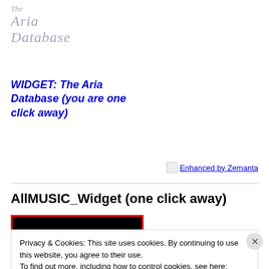[Figure (logo): The Aria Database logo in italic serif font with silver/grey coloring]
WIDGET: The Aria Database (you are one click away)
[Figure (screenshot): Enhanced by Zemanta badge with small image icon]
AllMUSIC_Widget (one click away)
[Figure (screenshot): AllMusic widget showing cyan concentric arcs on black background with red border]
Privacy & Cookies: This site uses cookies. By continuing to use this website, you agree to their use.
To find out more, including how to control cookies, see here: Cookie Policy
Close and accept